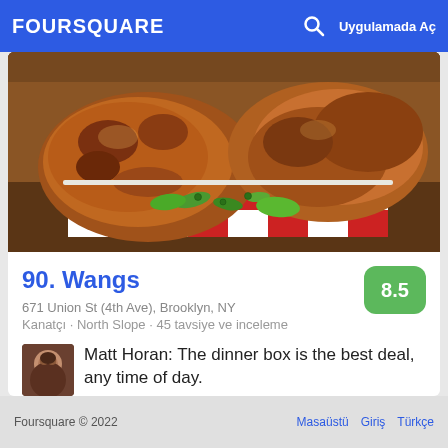FOURSQUARE  Uygulamada Aç
[Figure (photo): Close-up photo of fried chicken wings on a red and white checkered paper, garnished with sliced green jalapeños and fresh greens.]
90. Wangs
671 Union St (4th Ave), Brooklyn, NY
Kanatçı · North Slope · 45 tavsiye ve inceleme
Matt Horan: The dinner box is the best deal, any time of day.
Foursquare © 2022  Masaüstü  Giriş  Türkçe